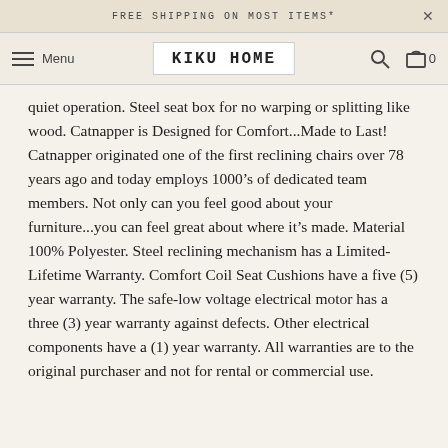FREE SHIPPING ON MOST ITEMS*
KIKU HOME
quiet operation. Steel seat box for no warping or splitting like wood. Catnapper is Designed for Comfort...Made to Last! Catnapper originated one of the first reclining chairs over 78 years ago and today employs 1000’s of dedicated team members. Not only can you feel good about your furniture...you can feel great about where it’s made. Material 100% Polyester. Steel reclining mechanism has a Limited-Lifetime Warranty. Comfort Coil Seat Cushions have a five (5) year warranty. The safe-low voltage electrical motor has a three (3) year warranty against defects. Other electrical components have a (1) year warranty. All warranties are to the original purchaser and not for rental or commercial use.